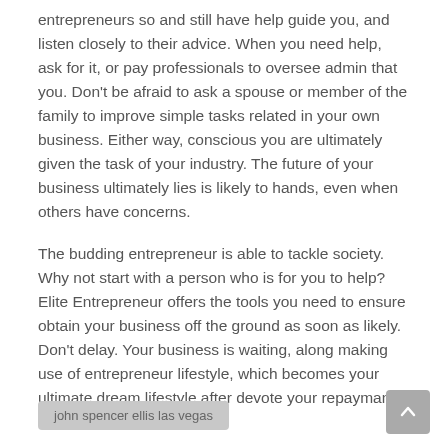entrepreneurs so and still have help guide you, and listen closely to their advice. When you need help, ask for it, or pay professionals to oversee admin that you. Don't be afraid to ask a spouse or member of the family to improve simple tasks related in your own business. Either way, conscious you are ultimately given the task of your industry. The future of your business ultimately lies is likely to hands, even when others have concerns.
The budding entrepreneur is able to tackle society. Why not start with a person who is for you to help? Elite Entrepreneur offers the tools you need to ensure obtain your business off the ground as soon as likely. Don't delay. Your business is waiting, along making use of entrepreneur lifestyle, which becomes your ultimate dream lifestyle after devote your repaymants!
john spencer ellis las vegas